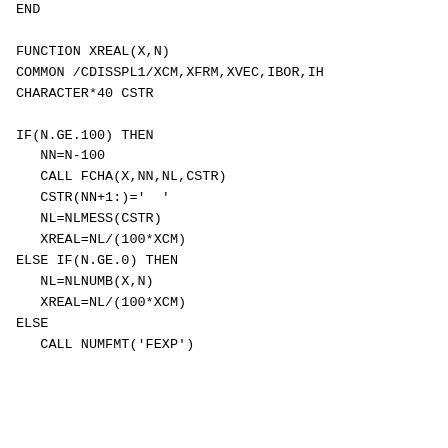END

FUNCTION XREAL(X,N)
COMMON /CDISSPL1/XCM,XFRM,XVEC,IBOR,IH
CHARACTER*40 CSTR

IF(N.GE.100) THEN
   NN=N-100
   CALL FCHA(X,NN,NL,CSTR)
   CSTR(NN+1:)='  '
   NL=NLMESS(CSTR)
   XREAL=NL/(100*XCM)
ELSE IF(N.GE.0) THEN
   NL=NLNUMB(X,N)
   XREAL=NL/(100*XCM)
ELSE
   CALL NUMFMT('FEXP')